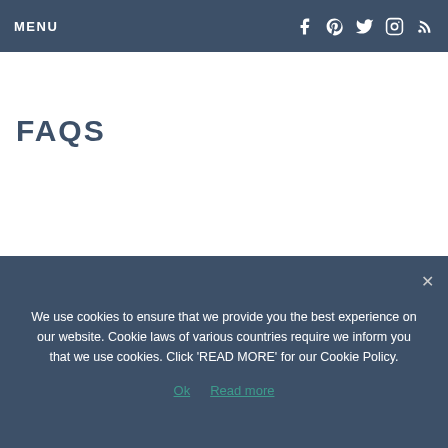MENU
FAQS
We use cookies to ensure that we provide you the best experience on our website. Cookie laws of various countries require we inform you that we use cookies. Click 'READ MORE' for our Cookie Policy.
Ok   Read more